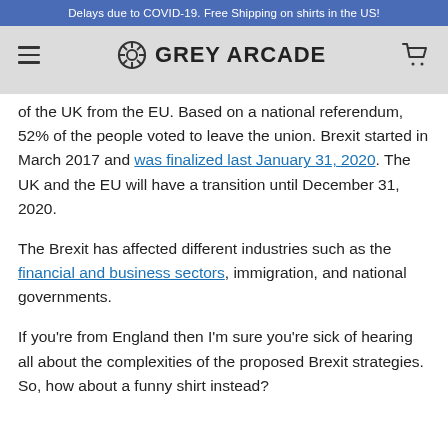Delays due to COVID-19. Free Shipping on shirts in the US!
[Figure (logo): Grey Arcade logo with hamburger menu and shopping cart icons in a grey navigation bar]
of the UK from the EU. Based on a national referendum, 52% of the people voted to leave the union. Brexit started in March 2017 and was finalized last January 31, 2020. The UK and the EU will have a transition until December 31, 2020.
The Brexit has affected different industries such as the financial and business sectors, immigration, and national governments.
If you're from England then I'm sure you're sick of hearing all about the complexities of the proposed Brexit strategies. So, how about a funny shirt instead?